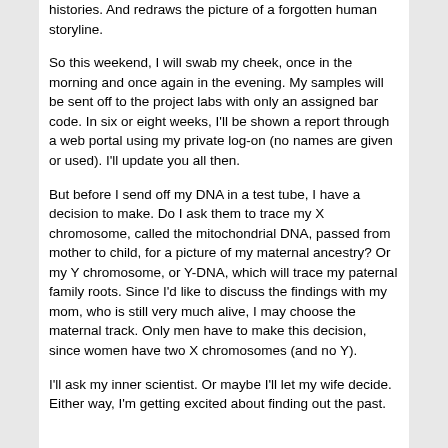histories. And redraws the picture of a forgotten human storyline.
So this weekend, I will swab my cheek, once in the morning and once again in the evening. My samples will be sent off to the project labs with only an assigned bar code. In six or eight weeks, I'll be shown a report through a web portal using my private log-on (no names are given or used). I'll update you all then.
But before I send off my DNA in a test tube, I have a decision to make. Do I ask them to trace my X chromosome, called the mitochondrial DNA, passed from mother to child, for a picture of my maternal ancestry? Or my Y chromosome, or Y-DNA, which will trace my paternal family roots. Since I'd like to discuss the findings with my mom, who is still very much alive, I may choose the maternal track. Only men have to make this decision, since women have two X chromosomes (and no Y).
I'll ask my inner scientist. Or maybe I'll let my wife decide. Either way, I'm getting excited about finding out the past.